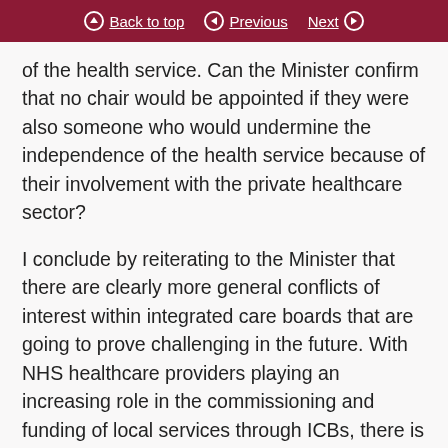Back to top | Previous | Next
of the health service. Can the Minister confirm that no chair would be appointed if they were also someone who would undermine the independence of the health service because of their involvement with the private healthcare sector?
I conclude by reiterating to the Minister that there are clearly more general conflicts of interest within integrated care boards that are going to prove challenging in the future. With NHS healthcare providers playing an increasing role in the commissioning and funding of local services through ICBs, there is a blurring of the line between those procuring a public service and those being paid to deliver it. It is very likely that conflicts of interest issues will emerge, with decisions potentially taken